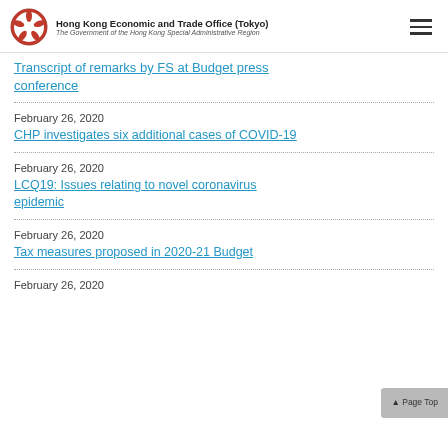Hong Kong Economic and Trade Office (Tokyo)
The Government of the Hong Kong Special Administrative Region
Transcript of remarks by FS at Budget press conference
February 26, 2020
CHP investigates six additional cases of COVID-19
February 26, 2020
LCQ19: Issues relating to novel coronavirus epidemic
February 26, 2020
Tax measures proposed in 2020-21 Budget
February 26, 2020